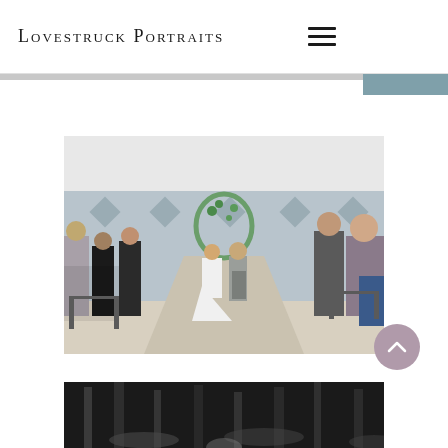Lovestruck Portraits
[Figure (photo): Wedding ceremony recessional photo: bride in white dress and groom in grey suit walk down the aisle together, surrounded by seated and standing guests, under a floral arch in a hall with blue-grey walls and diamond pattern.]
[Figure (photo): Black and white photo of trees or outdoor scenery, partially visible at bottom of page.]